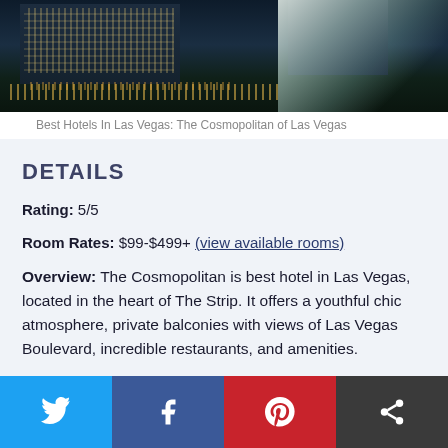[Figure (photo): Aerial nighttime photo of Las Vegas strip, The Cosmopolitan hotel with water fountains illuminated at night]
Best Hotels In Las Vegas: The Cosmopolitan of Las Vegas
DETAILS
Rating: 5/5
Room Rates: $99-$499+ (view available rooms)
Overview: The Cosmopolitan is best hotel in Las Vegas, located in the heart of The Strip. It offers a youthful chic atmosphere, private balconies with views of Las Vegas Boulevard, incredible restaurants, and amenities.
PROS